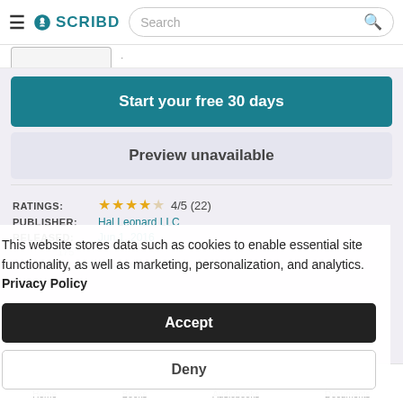SCRIBD — Search bar
Start your free 30 days
Preview unavailable
RATINGS: 4/5 (22)
PUBLISHER: Hal Leonard LLC
RELEASED: Jun 1, 2016
This website stores data such as cookies to enable essential site functionality, as well as marketing, personalization, and analytics. Privacy Policy
Accept
Deny
Home  Books  Audiobooks  Documents